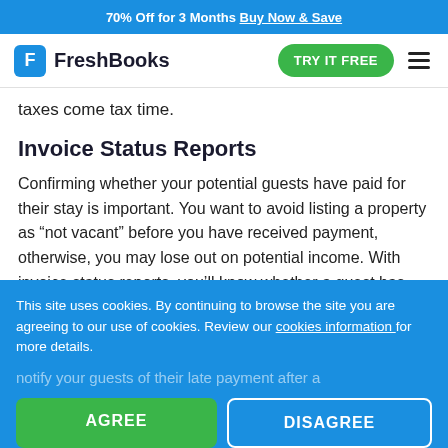70% Off for 3 Months Buy Now & Save
[Figure (logo): FreshBooks logo with blue F icon and wordmark, TRY IT FREE green button, and hamburger menu]
taxes come tax time.
Invoice Status Reports
Confirming whether your potential guests have paid for their stay is important. You want to avoid listing a property as “not vacant” before you have received payment, otherwise, you may lose out on potential income. With invoice status reports, you’ll know whether a guest has viewed an invoice, paid an
This site uses cookies. By continuing to browse the site you are agreeing to our use of cookies. Review our cookies information for more details.
notify your guests of their late payment after a
AGREE
DISAGREE